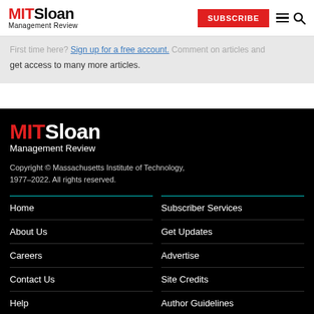MIT Sloan Management Review
First time here? Sign up for a free account. Comment on articles and get access to many more articles.
[Figure (logo): MIT Sloan Management Review footer logo with MIT in red and Sloan in white]
Copyright © Massachusetts Institute of Technology, 1977–2022. All rights reserved.
Home
About Us
Careers
Contact Us
Help
Subscriber Services
Get Updates
Advertise
Site Credits
Author Guidelines